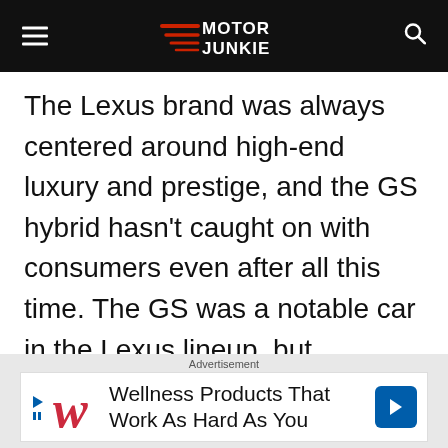Motor Junkie
The Lexus brand was always centered around high-end luxury and prestige, and the GS hybrid hasn't caught on with consumers even after all this time. The GS was a notable car in the Lexus lineup, but nowadays the car has become a shell of its former self.
Advertisement
Wellness Products That Work As Hard As You